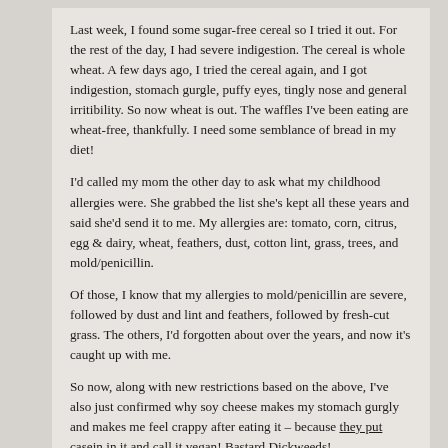Last week, I found some sugar-free cereal so I tried it out. For the rest of the day, I had severe indigestion. The cereal is whole wheat. A few days ago, I tried the cereal again, and I got indigestion, stomach gurgle, puffy eyes, tingly nose and general irritibility. So now wheat is out. The waffles I've been eating are wheat-free, thankfully. I need some semblance of bread in my diet!
I'd called my mom the other day to ask what my childhood allergies were. She grabbed the list she's kept all these years and said she'd send it to me. My allergies are: tomato, corn, citrus, egg & dairy, wheat, feathers, dust, cotton lint, grass, trees, and mold/penicillin.
Of those, I know that my allergies to mold/penicillin are severe, followed by dust and lint and feathers, followed by fresh-cut grass. The others, I'd forgotten about over the years, and now it's caught up with me.
So now, along with new restrictions based on the above, I've also just confirmed why soy cheese makes my stomach gurgly and makes me feel crappy after eating it – because they put casein in it and call it vegan! Bastard Dickweeds!
But that's not all! Many of the soy-protein fake meat products out